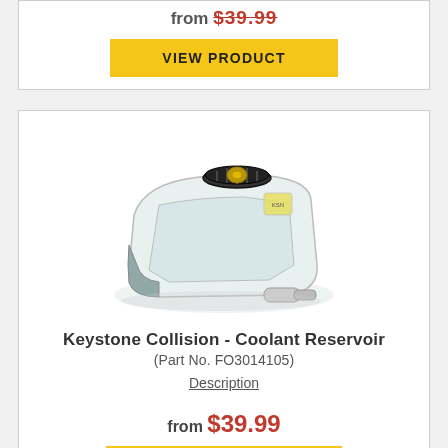from $39.99 (top card, partially visible)
VIEW PRODUCT (top card button)
[Figure (photo): Keystone Collision coolant reservoir — translucent white plastic tank with black screw cap on top, viewed from above at an angle, with hose outlet at bottom]
Keystone Collision - Coolant Reservoir (Part No. FO3014105)
Description
from $39.99
VIEW PRODUCT